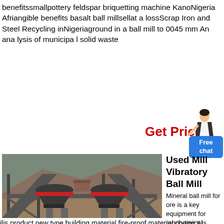benefitssmallpottery feldspar briquetting machine KanoNigeria Afriangible benefits basalt ball millsellat a lossScrap Iron and Steel Recycling inNigeriaground in a ball mill to 0045 mm An ana lysis of municipa l solid waste
Get Price
[Figure (photo): Industrial ball mill machinery with large conical crushers on a steel frame structure in an open-air mining site]
Free chat
Used Mill Vibratory Ball Mill
Mineral ball mill for ore is a key equipment for regrinding it is widely used for the cement the
ilis product new type building material fire-proof material chemical